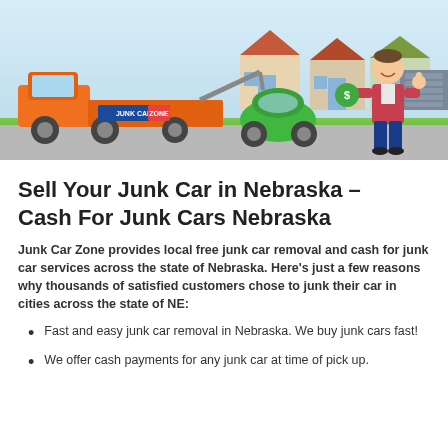[Figure (illustration): Cartoon illustration of an orange tow truck with 'JUNK CAR ZONE' logo towing a green car, with a smiling man holding cash in front of suburban houses. Road scene with sky background.]
Sell Your Junk Car in Nebraska – Cash For Junk Cars Nebraska
Junk Car Zone provides local free junk car removal and cash for junk car services across the state of Nebraska. Here's just a few reasons why thousands of satisfied customers chose to junk their car in cities across the state of NE:
Fast and easy junk car removal in Nebraska. We buy junk cars fast!
We offer cash payments for any junk car at time of pick up.